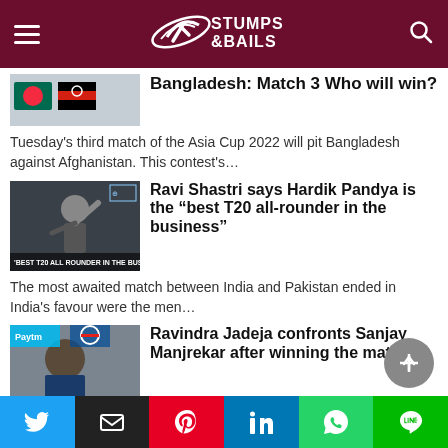Stumps & Bails
Bangladesh: Match 3 Who will win?
Tuesday's third match of the Asia Cup 2022 will pit Bangladesh against Afghanistan. This contest's…
[Figure (photo): Photo of a cricket player raising hand, overlay text: 'BEST T20 ALL ROUNDER IN THE BUSINESS']
Ravi Shastri says Hardik Pandya is the “best T20 all-rounder in the business”
The most awaited match between India and Pakistan ended in India's favour were the men…
[Figure (photo): Photo of Ravindra Jadeja in press conference with Paytm and Pepsi logos in background]
Ravindra Jadeja confronts Sanjay Manjrekar after winning the match
Asia Cup second match wrapped up yesterday in Sharjah where the Indian side thrillingly beat…
Social share buttons: Twitter, Email, Pinterest, LinkedIn, WhatsApp, LINE